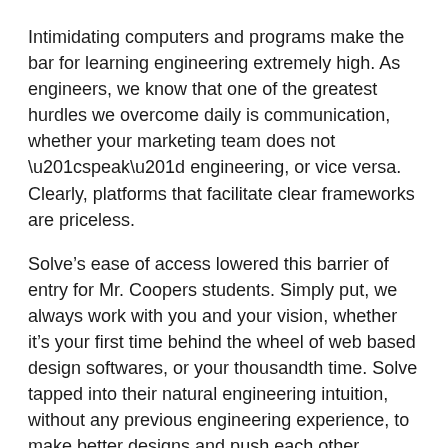Intimidating computers and programs make the bar for learning engineering extremely high. As engineers, we know that one of the greatest hurdles we overcome daily is communication, whether your marketing team does not “speak” engineering, or vice versa. Clearly, platforms that facilitate clear frameworks are priceless.
Solve’s ease of access lowered this barrier of entry for Mr. Coopers students. Simply put, we always work with you and your vision, whether it’s your first time behind the wheel of web based design softwares, or your thousandth time. Solve tapped into their natural engineering intuition, without any previous engineering experience, to make better designs and push each other forward.
The Inspiration:
“First, [students] saw me building a test prototype. Then, [students] started competing in class for who could get closer to the weight that